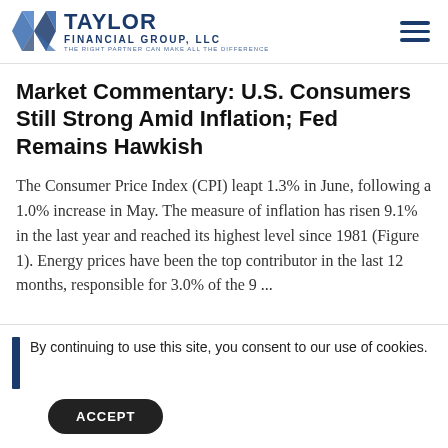Taylor Financial Group, LLC — The Right Partner Can Make All The Difference
Market Commentary: U.S. Consumers Still Strong Amid Inflation; Fed Remains Hawkish
The Consumer Price Index (CPI) leapt 1.3% in June, following a 1.0% increase in May. The measure of inflation has risen 9.1% in the last year and reached its highest level since 1981 (Figure 1). Energy prices have been the top contributor in the last 12 months, responsible for 3.0% of the 9 ...
By continuing to use this site, you consent to our use of cookies.
ACCEPT